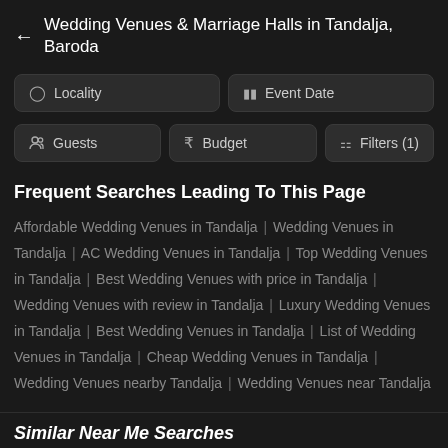← Wedding Venues & Marriage Halls in Tandalja, Baroda
Locality | Event Date | Guests | Budget | Filters (1)
Frequent Searches Leading To This Page
Affordable Wedding Venues in Tandalja | Wedding Venues in Tandalja | AC Wedding Venues in Tandalja | Top Wedding Venues in Tandalja | Best Wedding Venues with price in Tandalja | Wedding Venues with review in Tandalja | Luxury Wedding Venues in Tandalja | Best Wedding Venues in Tandalja | List of Wedding Venues in Tandalja | Cheap Wedding Venues in Tandalja | Wedding Venues nearby Tandalja | Wedding Venues near Tandalja
Similar Near Me Searches